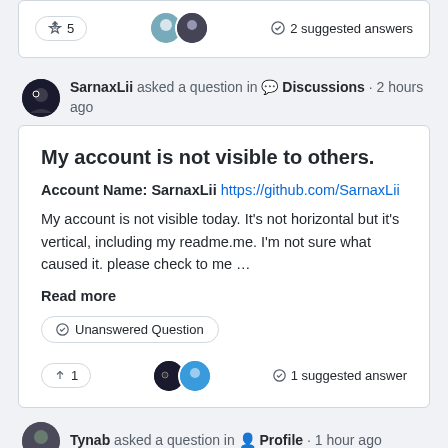↑ 5   [avatars]   ✓ 2 suggested answers
SarnaxLii asked a question in 💬 Discussions · 2 hours ago
My account is not visible to others.
Account Name: SarnaxLii https://github.com/SarnaxLii
My account is not visible today. It's not horizontal but it's vertical, including my readme.me. I'm not sure what caused it. please check to me …
Read more
Unanswered Question
↑ 1   [avatar]   ✓ 1 suggested answer
Tynab asked a question in 👤 Profile · 1 hour ago